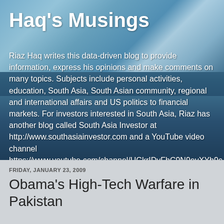Haq's Musings
Riaz Haq writes this data-driven blog to provide information, express his opinions and make comments on many topics. Subjects include personal activities, education, South Asia, South Asian community, regional and international affairs and US politics to financial markets. For investors interested in South Asia, Riaz has another blog called South Asia Investor at http://www.southasiainvestor.com and a YouTube video channel https://www.youtube.com/channel/UCkrIDyFbC9N9evXYb9cA_gQ
FRIDAY, JANUARY 23, 2009
Obama's High-Tech Warfare in Pakistan